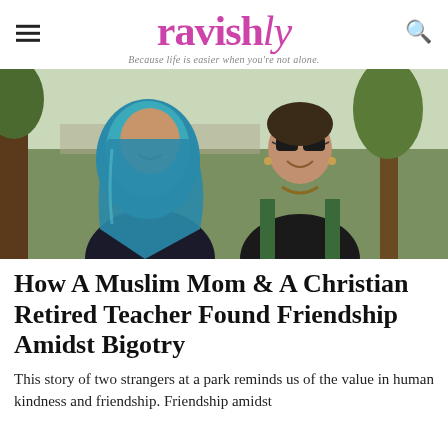ravishly — Because life is easier when you're not alone.
[Figure (photo): Two women smiling outdoors in a park. The woman on the left wears a teal hijab and dark coat. The woman on the right wears sunglasses, a dark vest over a green long-sleeve shirt, and a beaded necklace.]
How A Muslim Mom & A Christian Retired Teacher Found Friendship Amidst Bigotry
This story of two strangers at a park reminds us of the value in human kindness and friendship. Friendship amidst